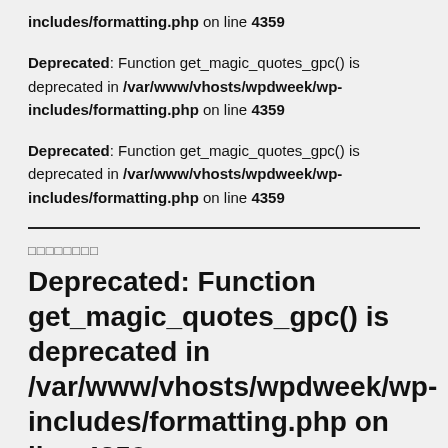includes/formatting.php on line 4359
Deprecated: Function get_magic_quotes_gpc() is deprecated in /var/www/vhosts/wpdweek/wp-includes/formatting.php on line 4359
Deprecated: Function get_magic_quotes_gpc() is deprecated in /var/www/vhosts/wpdweek/wp-includes/formatting.php on line 4359
□□□□□□□□
Deprecated: Function get_magic_quotes_gpc() is deprecated in /var/www/vhosts/wpdweek/wp-includes/formatting.php on line 4359